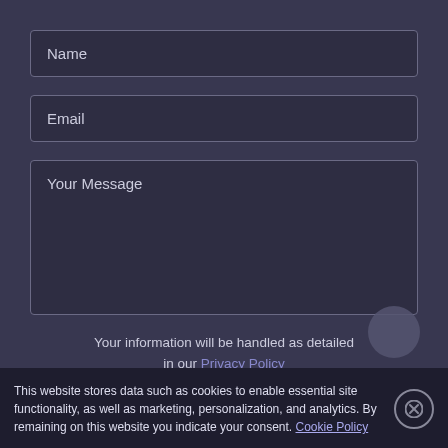Name
Email
Your Message
Your information will be handled as detailed in our Privacy Policy
Send
This website stores data such as cookies to enable essential site functionality, as well as marketing, personalization, and analytics. By remaining on this website you indicate your consent. Cookie Policy